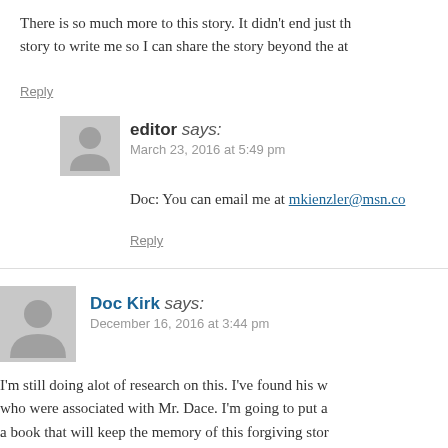There is so much more to this story. It didn't end just th... story to write me so I can share the story beyond the at...
Reply
editor says: March 23, 2016 at 5:49 pm
Doc: You can email me at mkienzler@msn.co...
Reply
Doc Kirk says: December 16, 2016 at 3:44 pm
I'm still doing alot of research on this. I've found his w... who were associated with Mr. Dace. I'm going to put a... a book that will keep the memory of this forgiving stor...
Reply